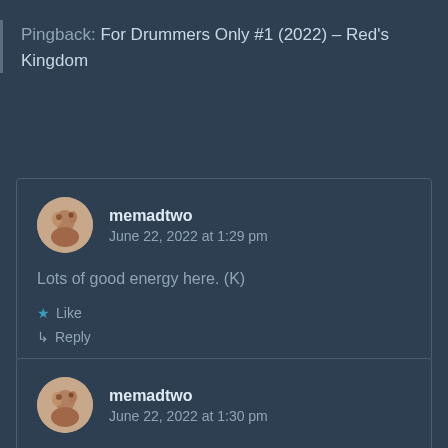Pingback: For Drummers Only #1 (2022) – Red's Kingdom
memadtwo
June 22, 2022 at 1:29 pm

Lots of good energy here. (K)

★ Like
↳ Reply
memadtwo
June 22, 2022 at 1:30 pm